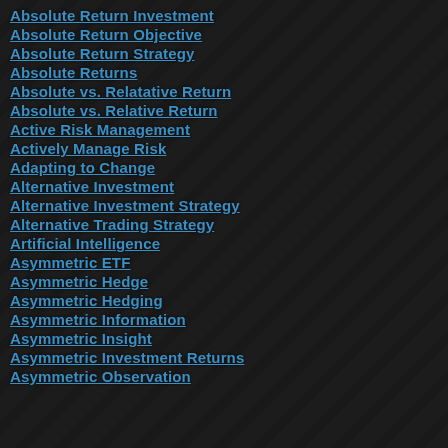Absolute Return Investment
Absolute Return Objective
Absolute Return Strategy
Absolute Returns
Absolute vs. Relatative Return
Absolute vs. Relative Return
Active Risk Management
Actively Manage Risk
Adapting to Change
Alternative Investment
Alternative Investment Strategy
Alternative Trading Strategy
Artificial Intelligence
Asymmetric ETF
Asymmetric Hedge
Asymmetric Hedging
Asymmetric Information
Asymmetric Insight
Asymmetric Investment Returns
Asymmetric Observation